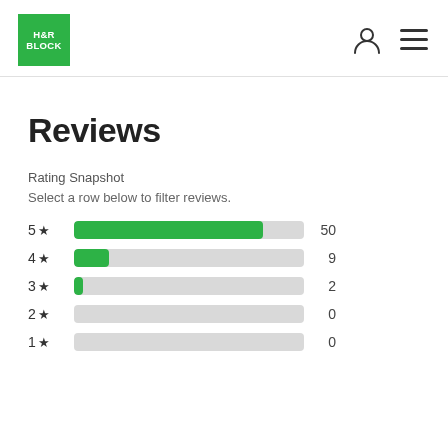[Figure (logo): H&R Block green logo with white text]
Reviews
Rating Snapshot
Select a row below to filter reviews.
[Figure (bar-chart): Rating Snapshot]